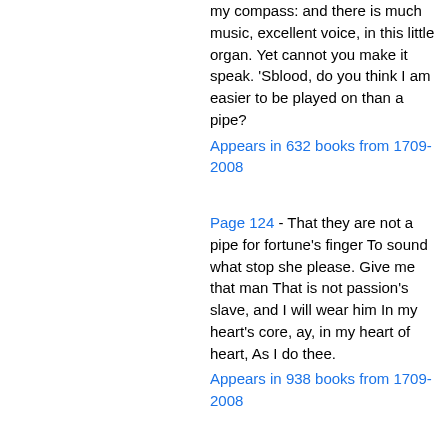my compass: and there is much music, excellent voice, in this little organ. Yet cannot you make it speak. 'Sblood, do you think I am easier to be played on than a pipe?
Appears in 632 books from 1709-2008
Page 124 - That they are not a pipe for fortune's finger To sound what stop she please. Give me that man That is not passion's slave, and I will wear him In my heart's core, ay, in my heart of heart, As I do thee.
Appears in 938 books from 1709-2008
Page 114 - I could a tale